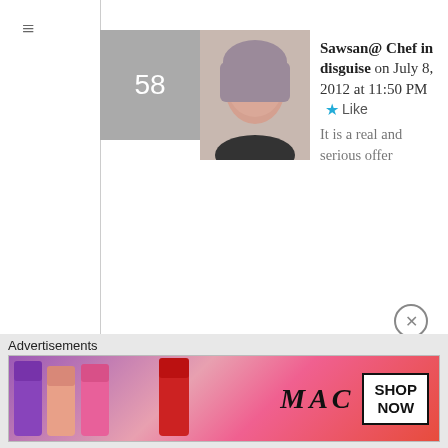58 — Sawsan@ Chef in disguise on July 8, 2012 at 11:50 PM — It is a real and serious offer
59 — Chica Andaluza on July 9, 2012 at 12:13 AM — Thank you, thank you! One day, wouldn´t that be lovely, we could make something for each other. Cooking barefoot of course!
Advertisements